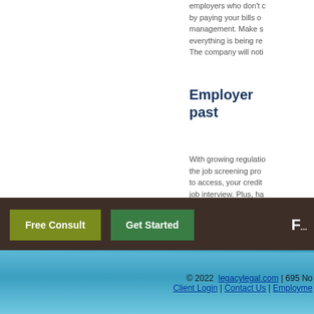employers who don't c... by paying your bills o... management. Make s... everything is being re... The company will noti...
Employer past
With growing regulatio... the job screening pro... to access, your credit... job interview. Plus, ha... everything you can to...
[Figure (other): Orange call-to-action button labeled 'YES! Repair...']
Free Consult  Get Started  F...
© 2022 legacylegal.com | 695 No... Client Login | Contact Us | Employme...